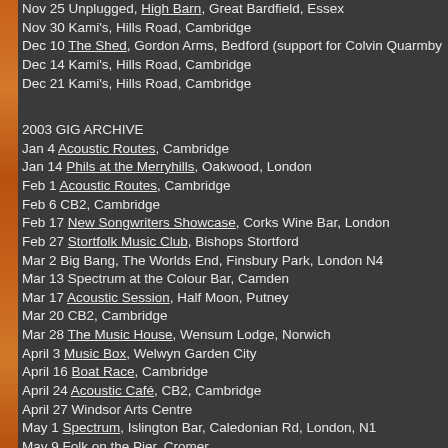Nov 25 Unplugged, High Barn, Great Bardfield, Essex
Nov 30 Kami's, Hills Road, Cambridge
Dec 10 The Shed, Gordon Arms, Bedford (support for Colvin Quarmby)
Dec 14 Kami's, Hills Road, Cambridge
Dec 21 Kami's, Hills Road, Cambridge
2003 GIG ARCHIVE
Jan 4 Acoustic Routes, Cambridge
Jan 14 Phils at the Merryhills, Oakwood, London
Feb 1 Acoustic Routes, Cambridge
Feb 6 CB2, Cambridge
Feb 17 New Songwriters Showcase, Corks Wine Bar, London
Feb 27 Stortfolk Music Club, Bishops Stortford
Mar 2 Big Bang, The Worlds End, Finsbury Park, London N4
Mar 13 Spectrum at the Colour Bar, Camden
Mar 17 Acoustic Session, Half Moon, Putney
Mar 20 CB2, Cambridge
Mar 28 The Music House, Wensum Lodge, Norwich
April 3 Music Box, Welwyn Garden City
April 16 Boat Race, Cambridge
April 24 Acoustic Café, CB2, Cambridge
April 27 Windsor Arts Centre
May 1 Spectrum, Islington Bar, Caledonian Rd, London, N1
May 9 Folk on the Pier, Cromer
May 22 Acoustic Café, CB2, Cambridge
May 25 Farside, Y Theatre, Leicester
May 27 Acoustic Trip, Camden